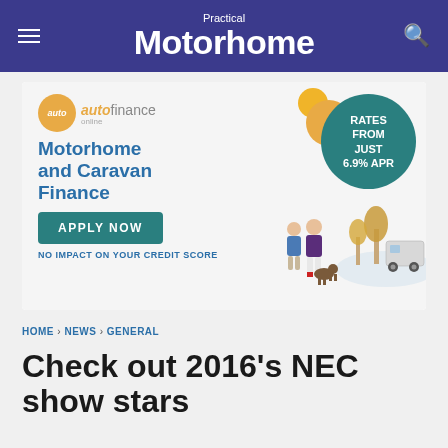Practical Motorhome
[Figure (infographic): Auto Finance Online advertisement for Motorhome and Caravan Finance. Features the Auto Finance Online logo (yellow circle with 'auto' text, 'finance online' text), headline 'Motorhome and Caravan Finance', a teal 'APPLY NOW' button, text 'NO IMPACT ON YOUR CREDIT SCORE', a teal circle badge reading 'RATES FROM JUST 6.9% APR', yellow decorative circles, and an illustration of a couple walking a dog near a motorhome.]
HOME › NEWS › GENERAL
Check out 2016's NEC show stars